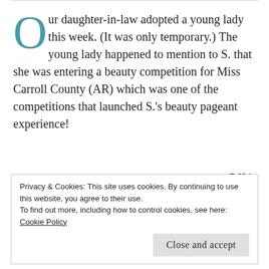Our daughter-in-law adopted a young lady this week. (It was only temporary.) The young lady happened to mention to S. that she was entering a beauty competition for Miss Carroll County (AR) which was one of the competitions that launched S.'s beauty pageant experience!
DIL's shop, Vintage
Privacy & Cookies: This site uses cookies. By continuing to use this website, you agree to their use. To find out more, including how to control cookies, see here: Cookie Policy
Close and accept